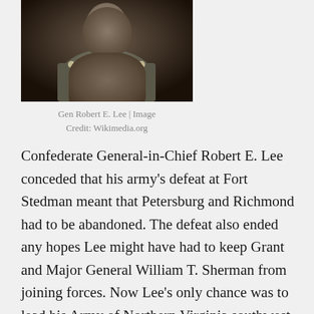[Figure (photo): Black and white photograph of Gen Robert E. Lee in Confederate uniform, shown from chest up]
Gen Robert E. Lee | Image Credit: Wikimedia.org
Confederate General-in-Chief Robert E. Lee conceded that his army's defeat at Fort Stedman meant that Petersburg and Richmond had to be abandoned. The defeat also ended any hopes Lee might have had to keep Grant and Major General William T. Sherman from joining forces. Now Lee's only chance was to lead his Army of Northern Virginia southwest to link with General Joseph E. Johnston's Confederates in North Carolina. And even then victory would be nearly impossible: the best that Lee could hope for was